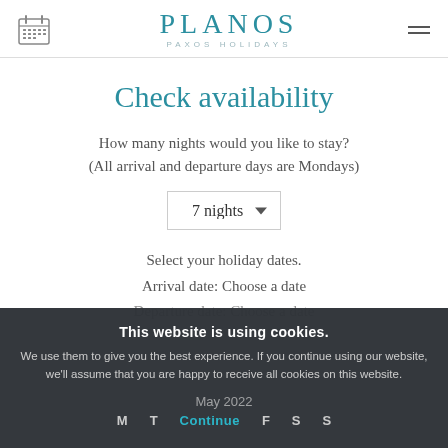[Figure (logo): PLANOS PAXOS HOLIDAYS logo with teal lettering and calendar icon on left, hamburger menu icon on right]
Check availability
How many nights would you like to stay?
(All arrival and departure days are Mondays)
7 nights (dropdown selector)
Select your holiday dates.
Arrival date: Choose a date
Departure date: Choose a date
This website is using cookies.
We use them to give you the best experience. If you continue using our website, we'll assume that you are happy to receive all cookies on this website.
May 2022
M T Continue F S S